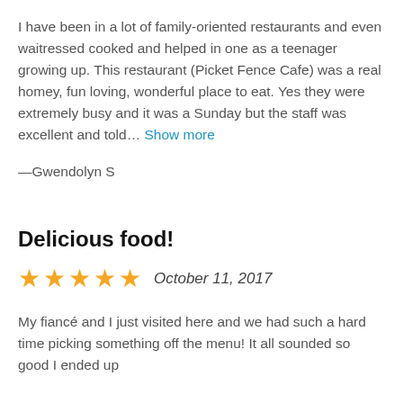I have been in a lot of family-oriented restaurants and even waitressed cooked and helped in one as a teenager growing up. This restaurant (Picket Fence Cafe) was a real homey, fun loving, wonderful place to eat. Yes they were extremely busy and it was a Sunday but the staff was excellent and told… Show more
—Gwendolyn S
Delicious food!
★★★★★  October 11, 2017
My fiancé and I just visited here and we had such a hard time picking something off the menu! It all sounded so good I ended up